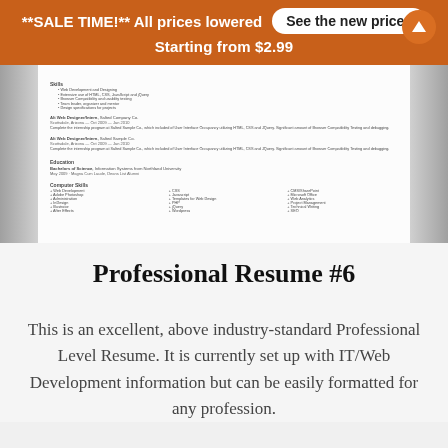**SALE TIME!** All prices lowered   See the new prices   Starting from $2.99
[Figure (screenshot): A blurred/thumbnail preview of a professional resume document showing sections for work experience, education, and computer skills.]
Professional Resume #6
This is an excellent, above industry-standard Professional Level Resume. It is currently set up with IT/Web Development information but can be easily formatted for any profession.